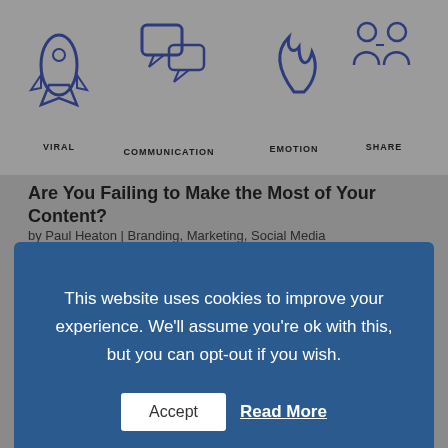[Figure (illustration): Infographic with hand-drawn style icons labeled VIRAL, COMMUNICATION, EMOTION, SHARE — a rocket, speech bubbles, flame, and two people figures respectively]
Are You Failing to Make the Most of Your Content?
by Paul Heaton | Branding, Marketing, Social Media
This website uses cookies to improve your experience. We'll assume you're ok with this, but you can opt-out if you wish.  Accept  Read More
task, using different media to increase brand visibility. This means having...
[Figure (photo): Rows of colorful sunglasses displayed on a rack]